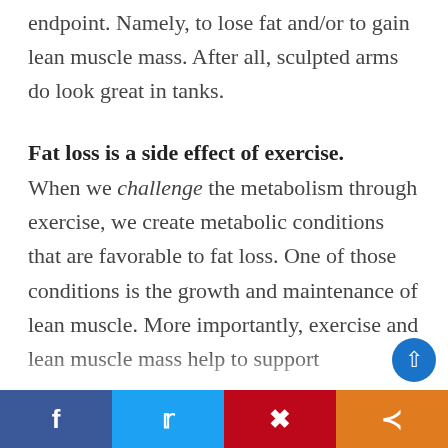endpoint. Namely, to lose fat and/or to gain lean muscle mass. After all, sculpted arms do look great in tanks.
Fat loss is a side effect of exercise.
When we challenge the metabolism through exercise, we create metabolic conditions that are favorable to fat loss. One of those conditions is the growth and maintenance of lean muscle. More importantly, exercise and lean muscle mass help to support